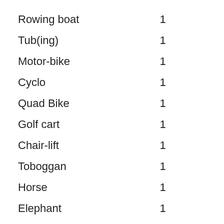| Rowing boat | 1 |
| Tub(ing) | 1 |
| Motor-bike | 1 |
| Cyclo | 1 |
| Quad Bike | 1 |
| Golf cart | 1 |
| Chair-lift | 1 |
| Toboggan | 1 |
| Horse | 1 |
| Elephant | 1 |